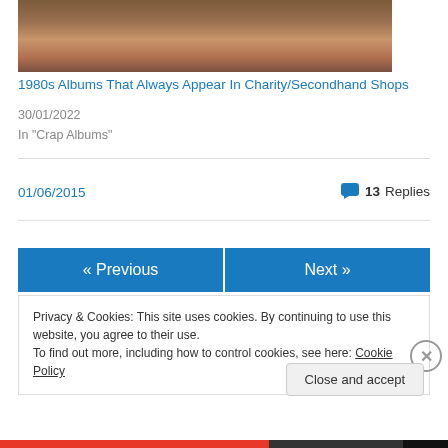[Figure (photo): Partial photo of a woman with dark curly hair wearing a gold/brown outfit, cropped at the top]
1980s Albums That Always Appear In Charity/Secondhand Shops
30/01/2022
In "Crap Albums"
01/06/2015
💬 13 Replies
« Previous
Next »
Privacy & Cookies: This site uses cookies. By continuing to use this website, you agree to their use.
To find out more, including how to control cookies, see here: Cookie Policy
Close and accept